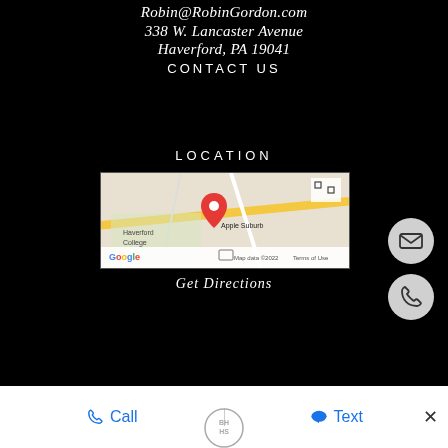Robin@RobinGordon.com
338 W. Lancaster Avenue
Haverford, PA 19041
CONTACT US
LOCATION
[Figure (map): Google Maps screenshot showing location near Haverford College and Apple Suburban Square, with a red map pin marker. Map data ©2022, Terms of Use.]
Get Directions
[Figure (other): Circular grey button with envelope/email icon]
[Figure (other): Circular grey button with phone handset icon]
Call
Text
[Figure (logo): BHHS circular logo at bottom center]